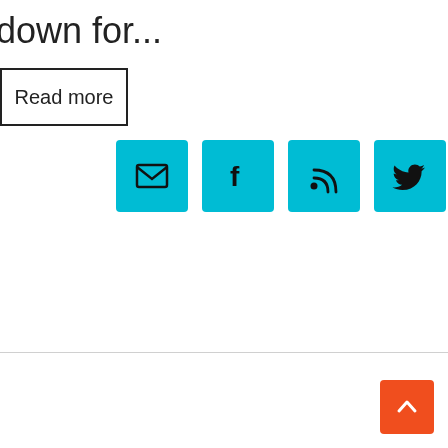down for...
Read more
[Figure (infographic): Four teal/cyan square icon buttons: email (envelope icon), Facebook (f icon), RSS feed icon, Twitter (bird icon)]
[Figure (infographic): Orange square back-to-top button with upward chevron arrow]